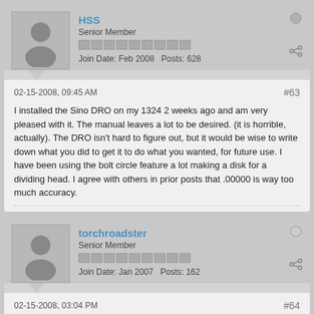HSS
Senior Member
Join Date: Feb 2008   Posts: 628
02-15-2008, 09:45 AM
#63
I installed the Sino DRO on my 1324 2 weeks ago and am very pleased with it. The manual leaves a lot to be desired. (it is horrible, actually). The DRO isn't hard to figure out, but it would be wise to write down what you did to get it to do what you wanted, for future use. I have been using the bolt circle feature a lot making a disk for a dividing head. I agree with others in prior posts that .00000 is way too much accuracy.
torchroadster
Senior Member
Join Date: Jan 2007   Posts: 162
02-15-2008, 03:04 PM
#64
Glad to read the reports - sounds like everyone is reasonably happy.